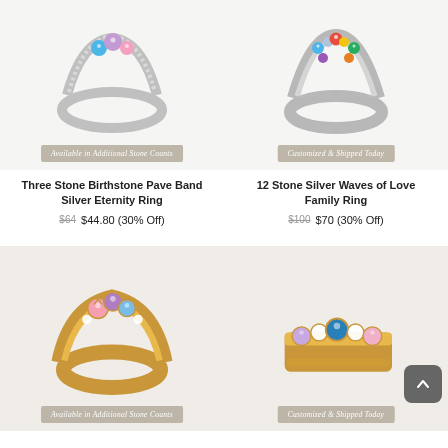[Figure (photo): Silver ring with blue, purple, and pink birthstones - Three Stone Birthstone Pave Band Silver Eternity Ring]
Available in Additional Stone Counts
Three Stone Birthstone Pave Band Silver Eternity Ring
$64  $44.80 (30% Off)
[Figure (photo): Silver ring with multiple colorful birthstones in a waves design - 12 Stone Silver Waves of Love Family Ring]
Customized & Shipped Today
12 Stone Silver Waves of Love Family Ring
$100  $70 (30% Off)
[Figure (photo): Gold ring with pink, purple, and blue birthstones - bottom left product]
Available in Additional Stone Counts
[Figure (photo): Gold band ring with blue, lavender, pink, and white stones - bottom right product]
Customized & Shipped Today